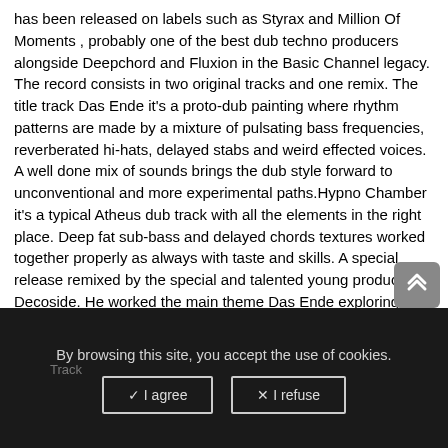has been released on labels such as Styrax and Million Of Moments , probably one of the best dub techno producers alongside Deepchord and Fluxion in the Basic Channel legacy. The record consists in two original tracks and one remix. The title track Das Ende it's a proto-dub painting where rhythm patterns are made by a mixture of pulsating bass frequencies, reverberated hi-hats, delayed stabs and weird effected voices. A well done mix of sounds brings the dub style forward to unconventional and more experimental paths.Hypno Chamber it's a typical Atheus dub track with all the elements in the right place. Deep fat sub-bass and delayed chords textures worked together properly as always with taste and skills. A special release remixed by the special and talented young producer Decoside. He worked the main theme Das Ende exploring the deepest side of his incredible skill in shaping sounds.
By browsing this site, you accept the use of cookies.
Track
✓ I agree
✕ I refuse